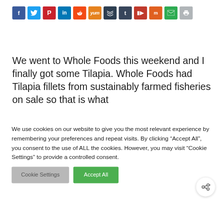[Figure (other): Social media share buttons: Facebook (blue), Twitter (light blue), Pinterest (red), LinkedIn (blue), Reddit (orange-red), Yummly (orange), Buffer (dark), Tumblr (dark blue-gray), Flipboard (red), Mix (orange), Email (green), Print (gray)]
We went to Whole Foods this weekend and I finally got some Tilapia. Whole Foods had Tilapia fillets from sustainably farmed fisheries on sale so that is what
We use cookies on our website to give you the most relevant experience by remembering your preferences and repeat visits. By clicking "Accept All", you consent to the use of ALL the cookies. However, you may visit "Cookie Settings" to provide a controlled consent.